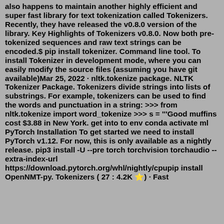also happens to maintain another highly efficient and super fast library for text tokenization called Tokenizers. Recently, they have released the v0.8.0 version of the library. Key Highlights of Tokenizers v0.8.0. Now both pre-tokenized sequences and raw text strings can be encoded.$ pip install tokenizer. Command line tool. To install Tokenizer in development mode, where you can easily modify the source files (assuming you have git available)Mar 25, 2022 · nltk.tokenize package. NLTK Tokenizer Package. Tokenizers divide strings into lists of substrings. For example, tokenizers can be used to find the words and punctuation in a string: >>> from nltk.tokenize import word_tokenize >>> s = '''Good muffins cost $3.88 in New York. get into to env conda activate ml PyTorch Installation To get started we need to install PyTorch v1.12. For now, this is only available as a nightly release. pip3 install -U --pre torch torchvision torchaudio --extra-index-url https://download.pytorch.org/whl/nightly/cpupip install OpenNMT-py. Tokenizers ( 27 : 4.2K ⭐) · Fast